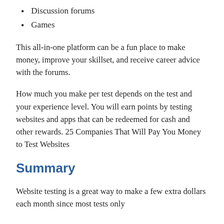Discussion forums
Games
This all-in-one platform can be a fun place to make money, improve your skillset, and receive career advice with the forums.
How much you make per test depends on the test and your experience level. You will earn points by testing websites and apps that can be redeemed for cash and other rewards. 25 Companies That Will Pay You Money to Test Websites
Summary
Website testing is a great way to make a few extra dollars each month since most tests only